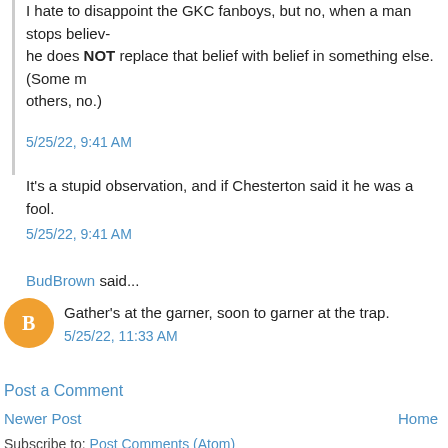I hate to disappoint the GKC fanboys, but no, when a man stops believing he does NOT replace that belief with belief in something else. (Some may, others, no.)
5/25/22, 9:41 AM
It's a stupid observation, and if Chesterton said it he was a fool.
5/25/22, 9:41 AM
BudBrown said...
Gather's at the garner, soon to garner at the trap.
5/25/22, 11:33 AM
Post a Comment
Newer Post
Home
Subscribe to: Post Comments (Atom)